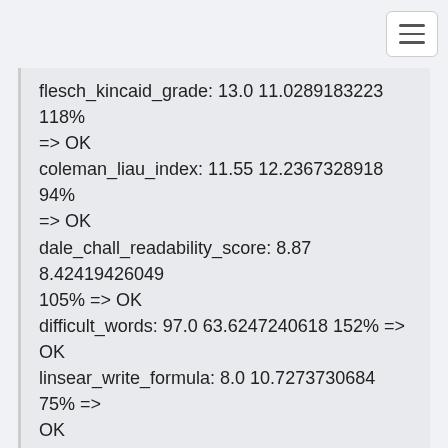flesch_kincaid_grade: 13.0 11.0289183223 118% => OK
coleman_liau_index: 11.55 12.2367328918 94% => OK
dale_chall_readability_score: 8.87 8.42419426049 105% => OK
difficult_words: 97.0 63.6247240618 152% => OK
linsear_write_formula: 8.0 10.7273730684 75% => OK
gunning_fog: 13.2 10.498013245 126% => OK
text_standard: 9.0 11.2008830022 80% => OK
What are above readability scores?
----------------------
Write the essay in 20 minutes.